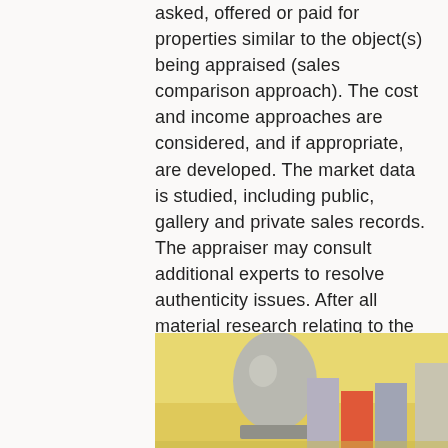asked, offered or paid for properties similar to the object(s) being appraised (sales comparison approach). The cost and income approaches are considered, and if appropriate, are developed. The market data is studied, including public, gallery and private sales records. The appraiser may consult additional experts to resolve authenticity issues. After all material research relating to the value of object(s) is carefully considered, the appraiser develops an opinion of value and prepares an appraisal report.
[Figure (photo): Photograph of decorative art objects on a yellow background, including a metallic egg-shaped sculpture and colored rectangular blocks]